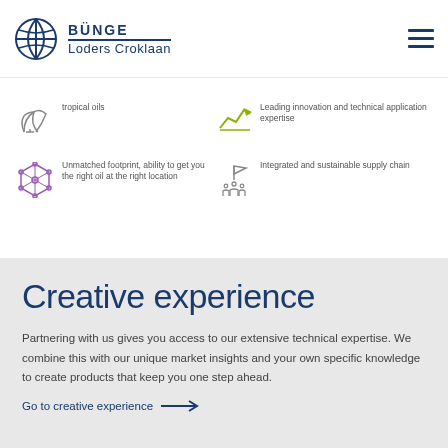BUNGE Loders Croklaan
[Figure (infographic): Icon: tropical oils symbol]
tropical oils
[Figure (infographic): Icon: innovation/technical application expertise symbol]
Leading innovation and technical application expertise
[Figure (infographic): Icon: network/footprint symbol (hexagon)]
Unmatched footprint, ability to get you the right oil at the right location
[Figure (infographic): Icon: integrated and sustainable supply chain symbol]
Integrated and sustainable supply chain
Creative experience
Partnering with us gives you access to our extensive technical expertise. We combine this with our unique market insights and your own specific knowledge to create products that keep you one step ahead.
Go to creative experience →